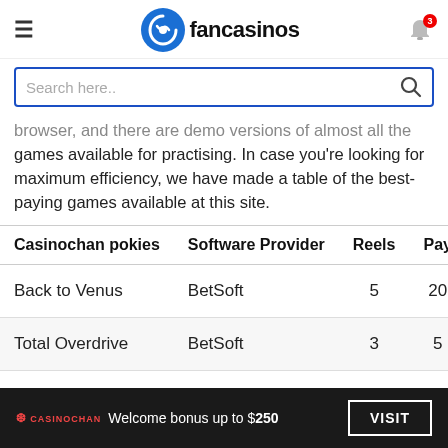fancasinos
browser, and there are demo versions of almost all the games available for practising. In case you're looking for maximum efficiency, we have made a table of the best-paying games available at this site.
| Casinochan pokies | Software Provider | Reels | Pay |
| --- | --- | --- | --- |
| Back to Venus | BetSoft | 5 | 20 |
| Total Overdrive | BetSoft | 3 | 5 |
CASINOCHAN Welcome bonus up to $250  VISIT